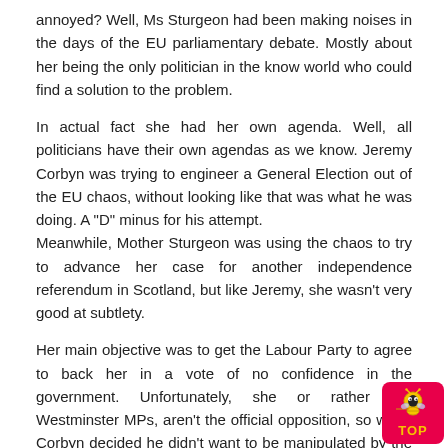annoyed? Well, Ms Sturgeon had been making noises in the days of the EU parliamentary debate. Mostly about her being the only politician in the know world who could find a solution to the problem.
In actual fact she had her own agenda. Well, all politicians have their own agendas as we know. Jeremy Corbyn was trying to engineer a General Election out of the EU chaos, without looking like that was what he was doing. A "D" minus for his attempt. Meanwhile, Mother Sturgeon was using the chaos to try to advance her case for another independence referendum in Scotland, but like Jeremy, she wasn't very good at subtlety.
Her main objective was to get the Labour Party to agree to back her in a vote of no confidence in the government. Unfortunately, she or rather her Westminster MPs, aren't the official opposition, so when Corbyn decided he didn't want to be manipulated by the yapping Mother Sturgeon, he refused to call for the vote of no confidence.
As you can imagine, this didn't do down well with the SNP or its support. The had counted on Labour to do what she said, but misjudged them not liking being told what to do by an over promoted councillor in Scotland.
[Figure (logo): Red badge/button with a cartoon bee icon and 'TOP' text in yellow]